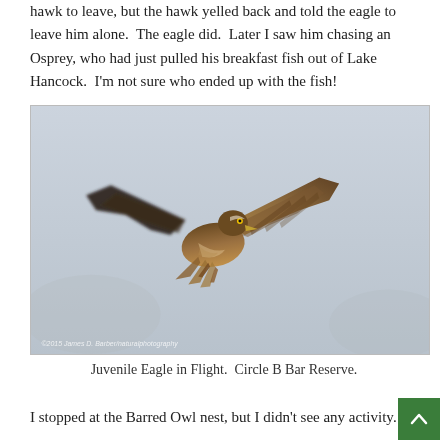hawk to leave, but the hawk yelled back and told the eagle to leave him alone.  The eagle did.  Later I saw him chasing an Osprey, who had just pulled his breakfast fish out of Lake Hancock.  I'm not sure who ended up with the fish!
[Figure (photo): A juvenile eagle photographed in flight against a pale blue-grey sky, wings spread wide, brown and tan feathers visible. Watermark reads '©2015 James D. Barber/naturalphotography']
Juvenile Eagle in Flight.  Circle B Bar Reserve.
I stopped at the Barred Owl nest, but I didn't see any activity. A